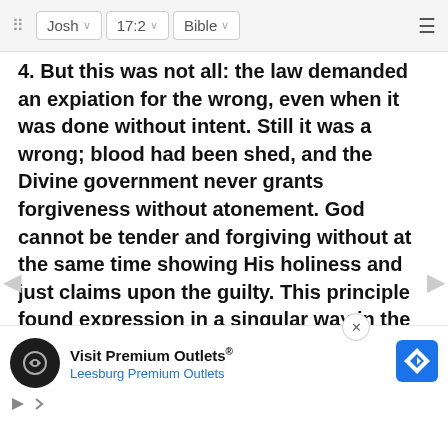⠿  Josh  ˅  17:2  ˅  Bible  ˅  ≡
4. But this was not all: the law demanded an expiation for the wrong, even when it was done without intent. Still it was a wrong; blood had been shed, and the Divine government never grants forgiveness without atonement. God cannot be tender and forgiving without at the same time showing His holiness and just claims upon the guilty. This principle found expression in a singular way in the cities of refuge, in the provision that, whenever the high priest died, the prisoners of hope should go freely back to their homes. The priest was in some sort a sacrifice for the sins of the people, even in his natural death. Here we find what we might call a constructive expiation, Thus from age to age death was associated in the public mind w... death of suc... eath of Ch...
[Figure (screenshot): Advertisement banner for Visit Premium Outlets - Leesburg Premium Outlets with logo, map icon, and play button]